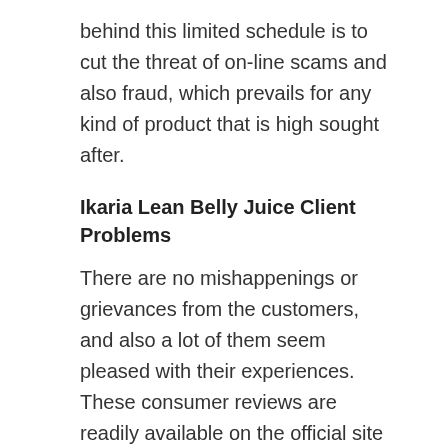behind this limited schedule is to cut the threat of on-line scams and also fraud, which prevails for any kind of product that is high sought after.
Ikaria Lean Belly Juice Client Problems
There are no mishappenings or grievances from the customers, and also a lot of them seem pleased with their experiences. These consumer reviews are readily available on the official site and also can be examined prior to confirming the orders. If you are experiencing any difficulty or problem while using this item, connect to the business with the contact information discussed online. Either you will certainly be suggested of an option, or you can get your money back under the